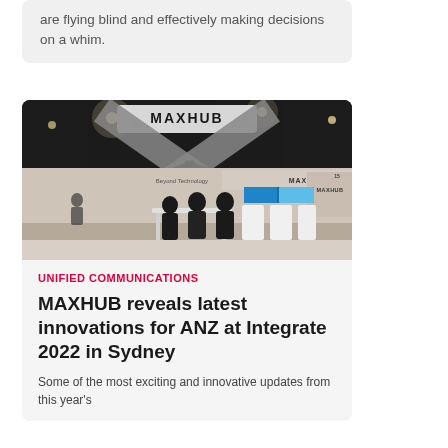are flying blind and effectively making decisions on a whim.
[Figure (photo): MAXHUB trade show booth at Integrate 2022 in Sydney. Large illuminated MAXHUB sign above an X-shaped structural element. Several people standing at white counter/display pods. Blue screens visible in background showing MAXHUB branding.]
UNIFIED COMMUNICATIONS
MAXHUB reveals latest innovations for ANZ at Integrate 2022 in Sydney
Some of the most exciting and innovative updates from this year's